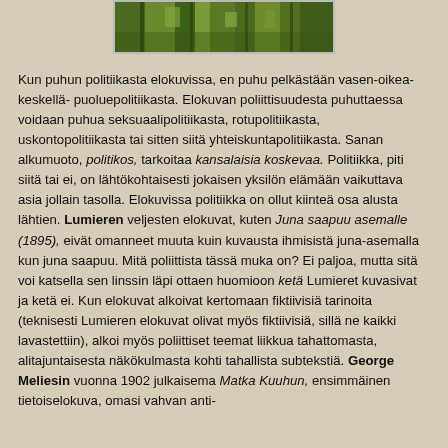[Figure (photo): Partial photograph of a forest or jungle scene with dense green foliage, shown at the top of the page inside a white-bordered frame.]
Kun puhun politiikasta elokuvissa, en puhu pelkästään vasen-oikea-keskellä- puoluepolitiikasta. Elokuvan poliittisuudesta puhuttaessa voidaan puhua seksuaalipolitiikasta, rotupolitiikasta, uskontopolitiikasta tai sitten siitä yhteiskuntapolitiikasta. Sanan alkumuoto, politikos, tarkoitaa kansalaisia koskevaa. Politiikka, piti siitä tai ei, on lähtökohtaisesti jokaisen yksilön elämään vaikuttava asia jollain tasolla. Elokuvissa politiikka on ollut kiinteä osa alusta lähtien. Lumieren veljesten elokuvat, kuten Juna saapuu asemalle (1895), eivät omanneet muuta kuin kuvausta ihmisistä juna-asemalla kun juna saapuu. Mitä poliittista tässä muka on? Ei paljoa, mutta sitä voi katsella sen linssin läpi ottaen huomioon ketä Lumieret kuvasivat ja ketä ei. Kun elokuvat alkoivat kertomaan fiktiivisiä tarinoita (teknisesti Lumieren elokuvat olivat myös fiktiivisiä, sillä ne kaikki lavastettiin), alkoi myös poliittiset teemat liikkua tahattomasta, alitajuntaisesta näkökulmasta kohti tahallista subtekstiä. George Meliesin vuonna 1902 julkaisema Matka Kuuhun, ensimmäinen tietoiselokuva, omasi vahvan anti-...